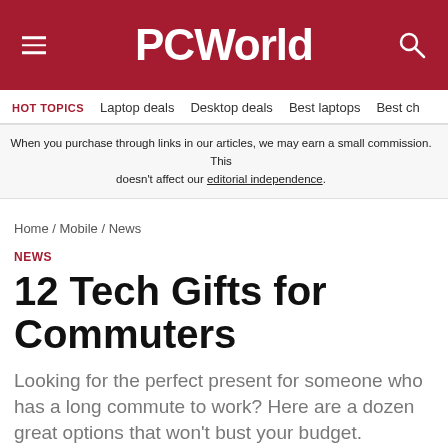PCWorld
HOT TOPICS  Laptop deals  Desktop deals  Best laptops  Best ch
When you purchase through links in our articles, we may earn a small commission. This doesn't affect our editorial independence.
Home / Mobile / News
NEWS
12 Tech Gifts for Commuters
Looking for the perfect present for someone who has a long commute to work? Here are a dozen great options that won't bust your budget.